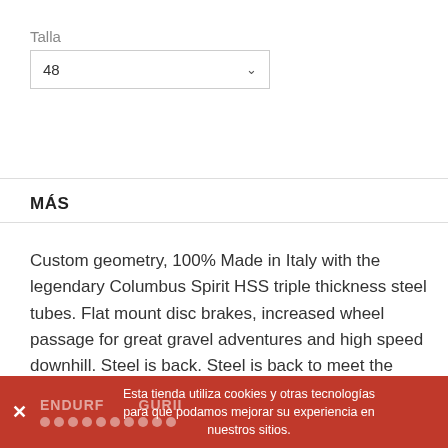Talla
48
MÁS
Custom geometry, 100% Made in Italy with the legendary Columbus Spirit HSS triple thickness steel tubes. Flat mount disc brakes, increased wheel passage for great gravel adventures and high speed downhill. Steel is back. Steel is back to meet the needs of sophisticated riders who demand the most advanced technology with an eye to tradition.
Esta tienda utiliza cookies y otras tecnologías para que podamos mejorar su experiencia en nuestros sitios.